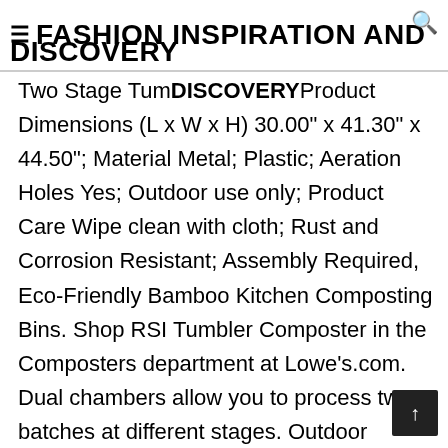FASHION INSPIRATION AND DISCOVERY
Two Stage Tumbler Compost Product Dimensions (L x W x H) 30.00" x 41.30" x 44.50"; Material Metal; Plastic; Aeration Holes Yes; Outdoor use only; Product Care Wipe clean with cloth; Rust and Corrosion Resistant; Assembly Required, Eco-Friendly Bamboo Kitchen Composting Bins. Shop RSI Tumbler Composter in the Composters department at Lowe's.com. Dual chambers allow you to process two batches at different stages. Outdoor Compost Tumbler Rotating Garden Composter Bin (Black). I put this together by